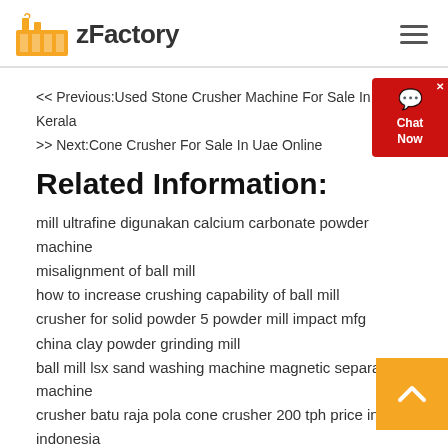zFactory
<< Previous:Used Stone Crusher Machine For Sale In Kerala
>> Next:Cone Crusher For Sale In Uae Online
Related Information:
mill ultrafine digunakan calcium carbonate powder machine
misalignment of ball mill
how to increase crushing capability of ball mill
crusher for solid powder 5 powder mill impact mfg
china clay powder grinding mill
ball mill lsx sand washing machine magnetic separation machine
crusher batu raja pola cone crusher 200 tph price in indonesia
crusher of limestone select the suitable
rhode island drying processing ore
mobile gold ore impact crusher supplier a gold ore crushing machine
beli crusher batubara grinders hammer mills